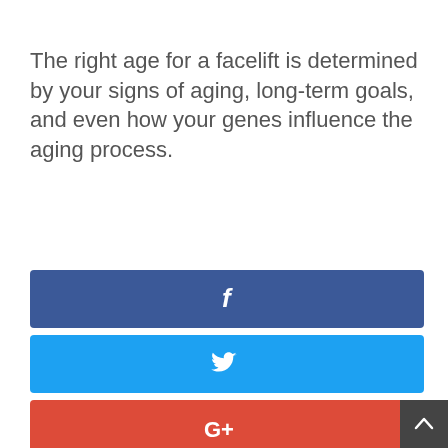The right age for a facelift is determined by your signs of aging, long-term goals, and even how your genes influence the aging process.
[Figure (infographic): Four social media share buttons stacked vertically: Facebook (dark blue with 'f' icon), Twitter (light blue with bird icon), Google+ (red-orange with 'G+'), Pinterest (dark red with Pinterest icon). A dark scroll-to-top arrow button appears at bottom right.]